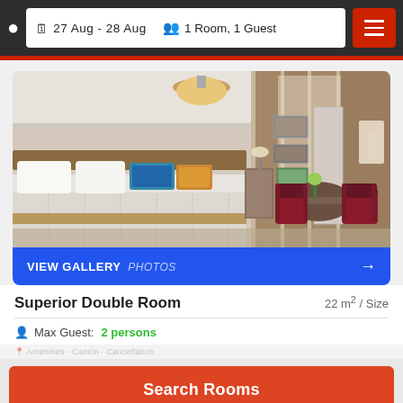27 Aug - 28 Aug  1 Room, 1 Guest
[Figure (photo): Hotel superior double room with a large bed with blue and teal pillows, dark red armchairs around a table, pendant lamp on ceiling, and brown curtains on windows. Blue 'VIEW GALLERY PHOTOS' bar at bottom with right arrow.]
Superior Double Room  22 m² / Size
Max Guest: 2 persons
Search Rooms